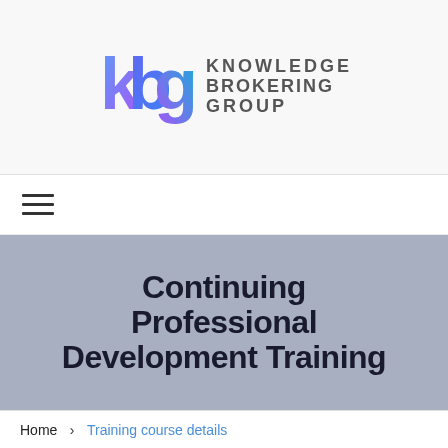[Figure (logo): Knowledge Brokering Group logo with colorful 'kbg' letters and gray text 'KNOWLEDGE BROKERING GROUP']
[Figure (other): Hamburger menu icon with three horizontal lines]
Continuing Professional Development Training
Home > Training course details